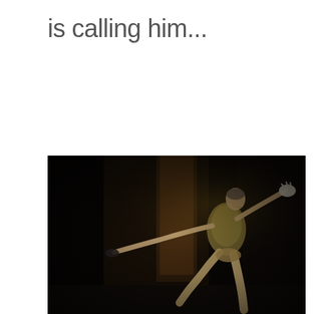is calling him...
[Figure (photo): A male ballet dancer performing a grand jeté or similar leap on a dark stage, arms outstretched wide and gaze lifted upward. He wears an ornate embroidered costume top with light-colored tights. The background is very dark with a warm amber/brown column or pillar visible. Dramatic theatrical lighting highlights the dancer against the dark background.]